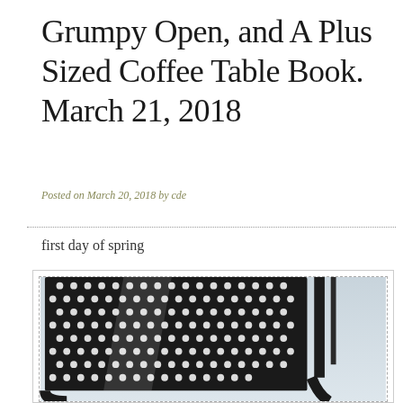Grumpy Open, and A Plus Sized Coffee Table Book. March 21, 2018
Posted on March 20, 2018 by cde
first day of spring
[Figure (photo): Close-up black and white photograph of a perforated metal chair back with a dotted/holed pattern, dark metal frame, light gray background]